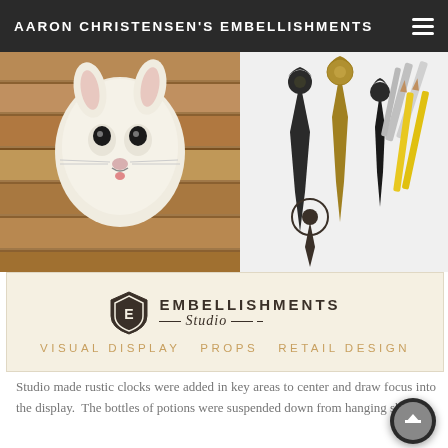AARON CHRISTENSEN'S EMBELLISHMENTS
[Figure (photo): Two-panel photo: left shows a faux taxidermy rabbit/cat head mount on rustic wood plank wall; right shows an assortment of decorative clock hands in black and brass, plus pencils/tools on white background]
[Figure (logo): Embellishments Studio logo: shield emblem with 'EE' monogram, EMBELLISHMENTS text in all caps, Studio in italic cursive script, tagline: VISUAL DISPLAY · PROPS · RETAIL DESIGN on cream/beige background]
Studio made rustic clocks were added in key areas to center and draw focus into the display.  The bottles of potions were suspended down from hanging shelves.
[Figure (photo): Two-panel bottom photo: left shows mint/teal colored decorative items and white ceramic figurines on shelving; right shows a dark fabric or animal head in brown tones]